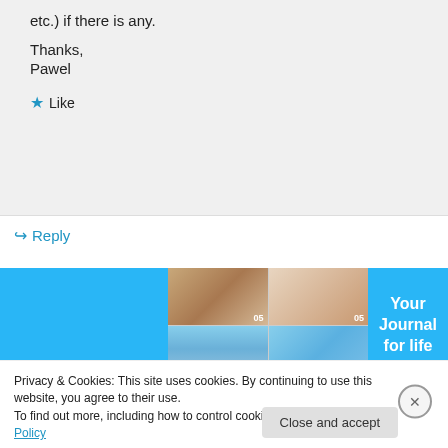etc.) if there is any.
Thanks,
Pawel
Like
Reply
[Figure (screenshot): App advertisement banner with photo grid on left and 'Your Journal for life' text on cyan/blue background on right]
Privacy & Cookies: This site uses cookies. By continuing to use this website, you agree to their use.
To find out more, including how to control cookies, see here: Cookie Policy
Close and accept